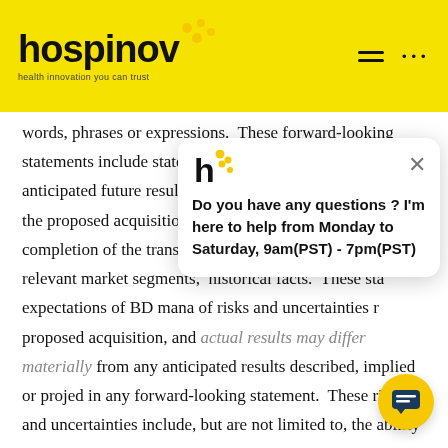hospinov — health innovation you can trust
words, phrases or expressions. These forward-looking statements include statements regarding the estimated or anticipated future results of BD and anticipated benefits of the proposed acquisition of Parata, the expected timing of completion of the transaction, future growth in Parata's relevant market segments, historical facts. These statements reflect the expectations of BD management and involve a number of risks and uncertainties related to the proposed acquisition, and actual results may differ materially from any anticipated results described, implied or projected in any forward-looking statement. These risks and uncertainties include, but are not limited to, the ability of the
[Figure (screenshot): Chat popup widget showing hospinov logo and message: Do you have any questions ? I'm here to help from Monday to Saturday, 9am(PST) - 7pm(PST), with a close button and a yellow chat bubble button in the bottom right corner.]